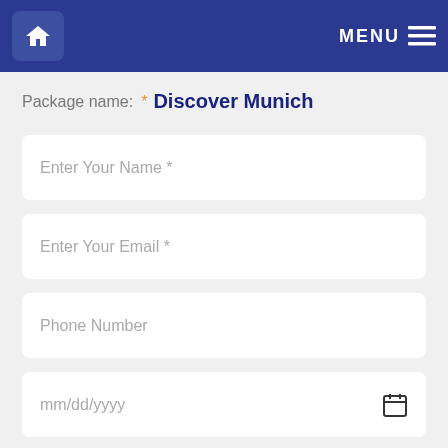Home | MENU
Package name: * Discover Munich
Enter Your Name *
Enter Your Email *
Phone Number
mm/dd/yyyy
mm/dd/yyyy